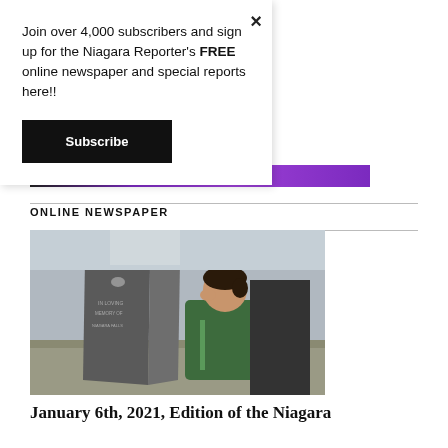Join over 4,000 subscribers and sign up for the Niagara Reporter's FREE online newspaper and special reports here!!
Subscribe
[Figure (other): Zoom Tan advertisement banner with purple gradient background, logo and 'CLICK HERE FOR COUPON & DETAILS' text]
ONLINE NEWSPAPER
[Figure (photo): Man in green jacket looking at a memorial stone monument outdoors]
January 6th, 2021, Edition of the Niagara